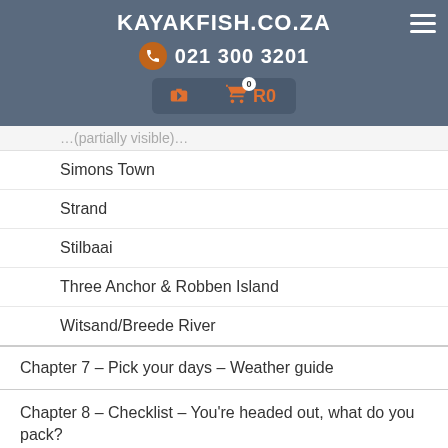KAYAKFISH.CO.ZA
021 300 3201
Simons Town
Strand
Stilbaai
Three Anchor & Robben Island
Witsand/Breede River
Chapter 7 – Pick your days – Weather guide
Chapter 8 – Checklist – You're headed out, what do you pack?
Chapter 9 – Other useful guides and tips